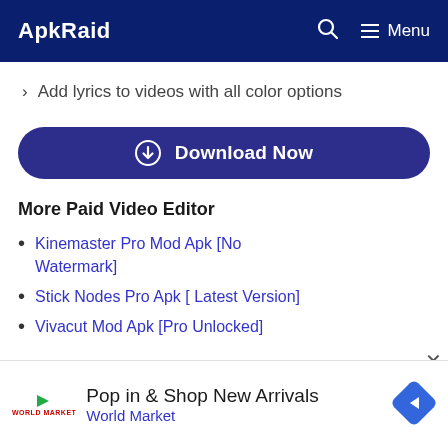ApkRaid  [search] [Menu]
Add lyrics to videos with all color options
[Figure (other): Download Now button with download icon]
More Paid Video Editor
Kinemaster Pro Mod Apk [No Watermark]
Stick Nodes Pro Apk [ Latest Version]
Vivacut Mod Apk [Pro Unlocked]
[Figure (other): Advertisement banner: Pop in & Shop New Arrivals - World Market with diamond navigation icon]